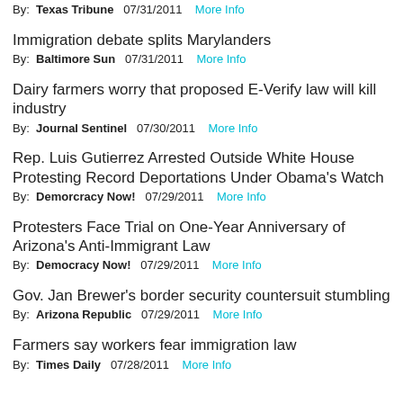By:  Texas Tribune   07/31/2011   More Info
Immigration debate splits Marylanders
By:  Baltimore Sun   07/31/2011   More Info
Dairy farmers worry that proposed E-Verify law will kill industry
By:  Journal Sentinel   07/30/2011   More Info
Rep. Luis Gutierrez Arrested Outside White House Protesting Record Deportations Under Obama's Watch
By:  Demorcracy Now!   07/29/2011   More Info
Protesters Face Trial on One-Year Anniversary of Arizona's Anti-Immigrant Law
By:  Democracy Now!   07/29/2011   More Info
Gov. Jan Brewer's border security countersuit stumbling
By:  Arizona Republic   07/29/2011   More Info
Farmers say workers fear immigration law
By:  Times Daily   07/28/2011   More Info